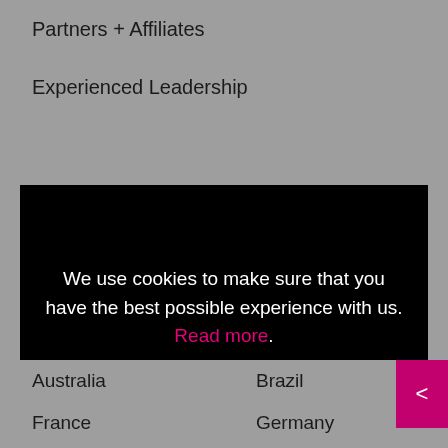Partners + Affiliates
Experienced Leadership
We use cookies to make sure that you have the best possible experience with us. Read more.
Accept →
Essential Only
Australia
Brazil
France
Germany
Italy
Spain